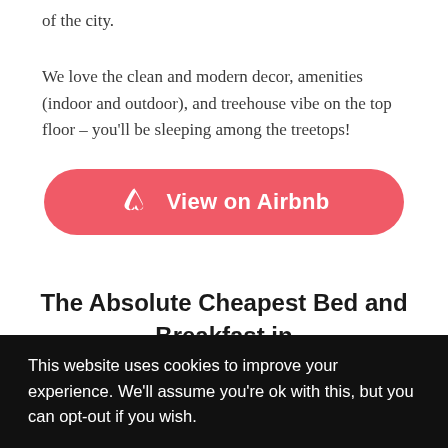of the city.
We love the clean and modern decor, amenities (indoor and outdoor), and treehouse vibe on the top floor – you'll be sleeping among the treetops!
[Figure (other): Pink rounded button with Airbnb logo icon and text 'View on Airbnb']
The Absolute Cheapest Bed and Breakfast in Ottawa – East Wind Winter Refuge
This website uses cookies to improve your experience. We'll assume you're ok with this, but you can opt-out if you wish.